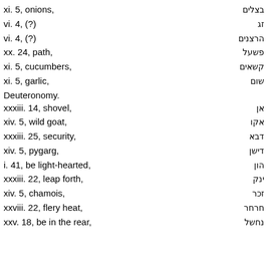xi. 5, onions, בצלים
vi. 4, (?) זג
vi. 4, (?) הרצנים
xx. 24, path, פשעל
xi. 5, cucumbers, קשאים
xi. 5, garlic, שום
Deuteronomy.
xxxiii. 14, shovel, אן
xiv. 5, wild goat, אקו
xxxiii. 25, security, דבא
xiv. 5, pygarg, דישן
i. 41, be light-hearted, הון
xxxiii. 22, leap forth, ינק
xiv. 5, chamois, זכר
xxviii. 22, flery heat, חרחר
xxv. 18, be in the rear, נחשל